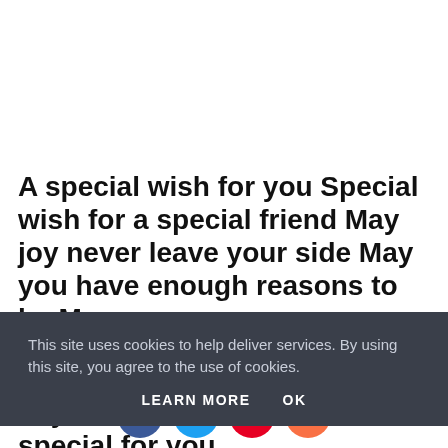A special wish for you Special wish for a special friend May joy never leave your side May you have enough reasons to be May you have found tomorrow where you will This Christmas will be special for you
This site uses cookies to help deliver services. By using this site, you agree to the use of cookies.
LEARN MORE   OK
day This Christmas will be special for you
[Figure (infographic): Social sharing icons: Facebook (blue), Twitter (blue), Pinterest (red), Plus/share (orange)]